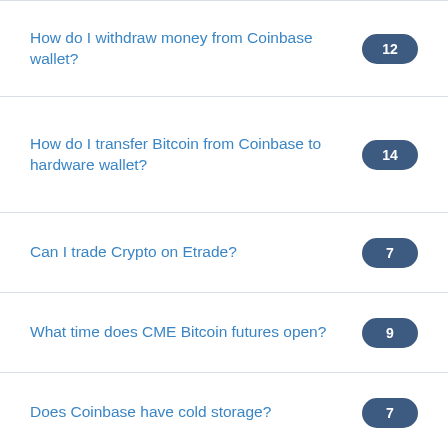How do I withdraw money from Coinbase wallet?
How do I transfer Bitcoin from Coinbase to hardware wallet?
Can I trade Crypto on Etrade?
What time does CME Bitcoin futures open?
Does Coinbase have cold storage?
Can Bitcoin replace dollar?
How can I withdraw Bitcoin from Pakistan?
How do I withdraw Usdc from Poloniex?